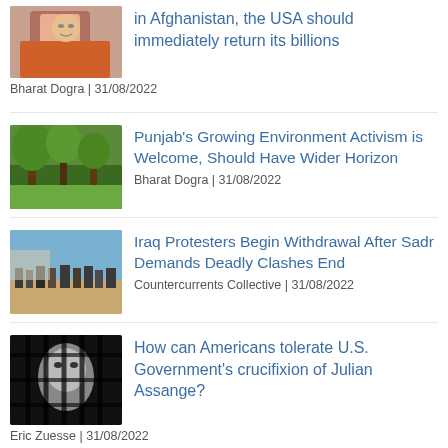[Figure (photo): Person in orange clothing, partial view, top of page]
in Afghanistan, the USA should immediately return its billions
Bharat Dogra | 31/08/2022
[Figure (photo): Green foliage/trees, environmental scene]
Punjab's Growing Environment Activism is Welcome, Should Have Wider Horizon
Bharat Dogra | 31/08/2022
[Figure (photo): Crowd of protesters in street, Iraq protest scene]
Iraq Protesters Begin Withdrawal After Sadr Demands Deadly Clashes End
Countercurrents Collective | 31/08/2022
[Figure (photo): Black and white image of face behind bars/grid]
How can Americans tolerate U.S. Government's crucifixion of Julian Assange?
Eric Zuesse | 31/08/2022
Certainty in George Berkeley's Theory of